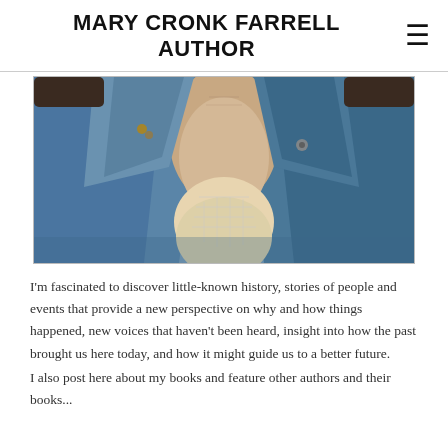MARY CRONK FARRELL AUTHOR
[Figure (photo): Close-up photo of a person wearing a denim jacket over a white lace/crochet top, showing the neck and chest area.]
I'm fascinated to discover little-known history, stories of people and events that provide a new perspective on why and how things happened, new voices that haven't been heard, insight into how the past brought us here today, and how it might guide us to a better future.
I also post here about my books and feature other authors and their books...